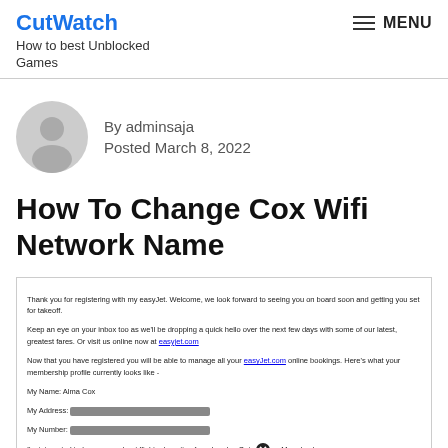CutWatch
How to best Unblocked Games
MENU
By adminsaja
Posted March 8, 2022
How To Change Cox Wifi Network Name
[Figure (screenshot): Screenshot of an easyJet registration confirmation email showing: 'Thank you for registering with my easyJet. Welcome, we look forward to seeing you on board soon and getting you set for takeoff. Keep an eye on your inbox too as we'll be dropping a quick hello over the next few days with some of our latest, greatest fares. Or visit us online now at easyjet.com. Now that you have registered you will be able to manage all your easyJet.com online bookings. Here's what your membership profile currently looks like - My Name: Alma Cox. My Address: [redacted]. My Number: [redacted]. I'm interested to hear more about flights departing from London Gatwick [close button], Marrakech.']